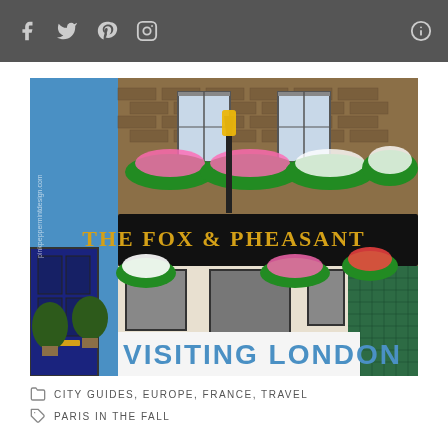Social media toolbar with icons: Facebook, Twitter, Pinterest, Instagram, Info
[Figure (photo): Exterior photo of The Fox & Pheasant pub in London, a traditional British pub with brick facade, hanging flower baskets, a gas lamp, and text overlay reading 'VISITING LONDON']
CITY GUIDES, EUROPE, FRANCE, TRAVEL
PARIS IN THE FALL